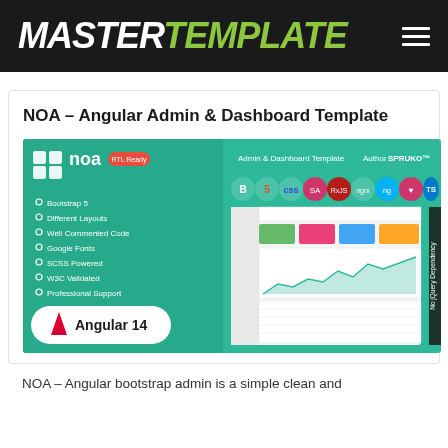MASTERTEMPLATE
NOA – Angular Admin & Dashboard Template
[Figure (screenshot): NOA Admin & Dashboard Template promotional image showing Angular 14 badge, feature list (Bootstrap 5, Different Layouts, Well Commented Code, Google Fonts, SCSS Powered, W3C Validated, Professional Support), RTL Ready badge, SPRUKO author credit, technology icons, and a dashboard UI preview screenshot on a green background with No jQuery Dependency label.]
NOA – Angular bootstrap admin is a simple clean and